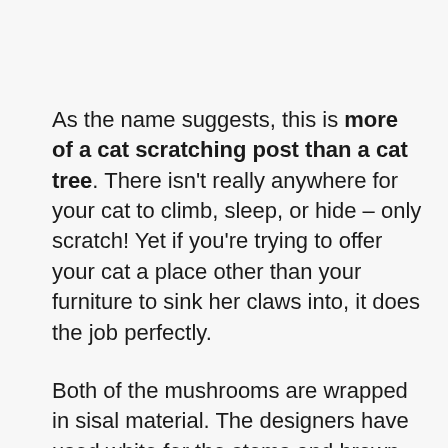As the name suggests, this is more of a cat scratching post than a cat tree. There isn't really anywhere for your cat to climb, sleep, or hide – only scratch! Yet if you're trying to offer your cat a place other than your furniture to sink her claws into, it does the job perfectly.
Both of the mushrooms are wrapped in sisal material. The designers have used white for the stems and brown, pink, or grey for the head to add to the natural look. What's more, the sisal has been carefully wrapped by hand. The base then features a natural-looking fake grass to complete